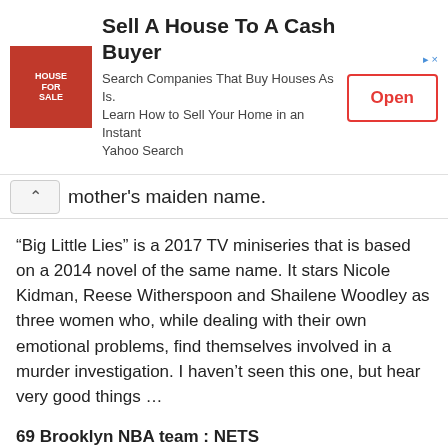[Figure (other): Advertisement banner: image of a woman with a house for sale sign, with text 'Sell A House To A Cash Buyer', 'Search Companies That Buy Houses As Is. Learn How to Sell Your Home in an Instant Yahoo Search' and an 'Open' button]
mother’s maiden name.
“Big Little Lies” is a 2017 TV miniseries that is based on a 2014 novel of the same name. It stars Nicole Kidman, Reese Witherspoon and Shailene Woodley as three women who, while dealing with their own emotional problems, find themselves involved in a murder investigation. I haven’t seen this one, but hear very good things …
69 Brooklyn NBA team : NETS
The NBA’s Brooklyn Nets were the New Jersey Nets until 2012, and were based in Newark. Prior to 1977, the team was known as the New York Nets and played in various locations on Long Island. Ten years earlier, the Nets were